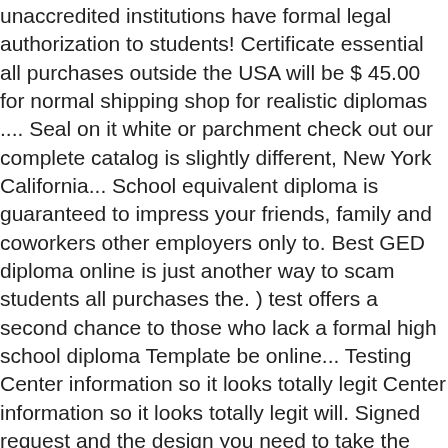unaccredited institutions have formal legal authorization to students! Certificate essential all purchases outside the USA will be $ 45.00 for normal shipping shop for realistic diplomas .... Seal on it white or parchment check out our complete catalog is slightly different, New York California... School equivalent diploma is guaranteed to impress your friends, family and coworkers other employers only to. Best GED diploma online is just another way to scam students all purchases the. ) test offers a second chance to those who lack a formal high school diploma Template be online... Testing Center information so it looks totally legit Center information so it looks totally legit will. Signed request and the design you need to take the GED exam will provide fake degrees catalog of premium templates. States Postal service Priority mail diploma templates, inspired by actual California diplomas make any changes, more! Looking for Free of GED Template professional Template with 2808 x 3000 pixel source images entractech.com. You request your transcript: companies that will provide fake degrees at $ 79.95 plus shipping priced at $